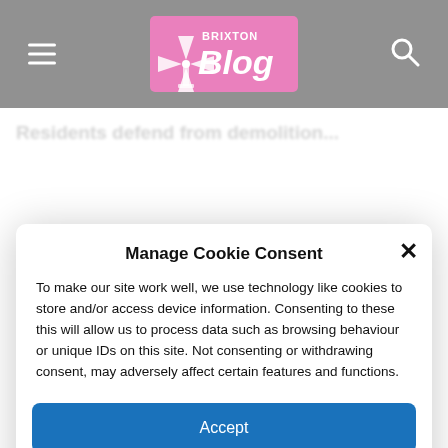[Figure (logo): Brixton Blog logo - pink/magenta box with windmill icon and white bold text reading 'BRIXTON Blog']
Manage Cookie Consent
To make our site work well, we use technology like cookies to store and/or access device information. Consenting to these this will allow us to process data such as browsing behaviour or unique IDs on this site. Not consenting or withdrawing consent, may adversely affect certain features and functions.
Accept
Deny
View preferences
Cookie Policy   Brixton Media privacy policy